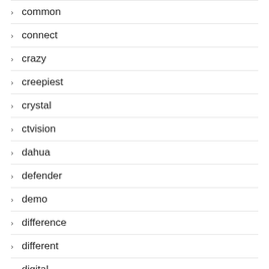common
connect
crazy
creepiest
crystal
ctvision
dahua
defender
demo
difference
different
digital
dome